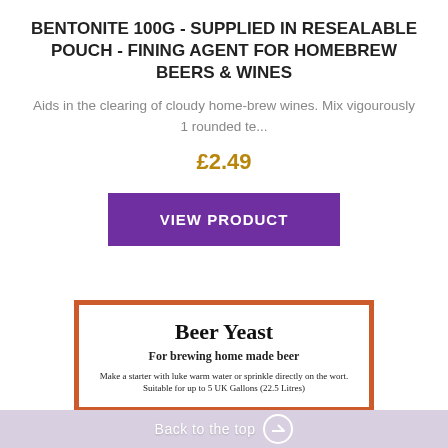BENTONITE 100G - SUPPLIED IN RESEALABLE POUCH - FINING AGENT FOR HOMEBREW BEERS & WINES
Aids in the clearing of cloudy home-brew wines. Mix vigourously 1 rounded te...
£2.49
VIEW PRODUCT
[Figure (photo): Product card showing Beer Yeast label with text 'For brewing home made beer' and 'Make a starter with luke warm water or sprinkle directly on the wort. Suitable for up to 5 UK Gallons (22.5 Litres)' with orange border frame and beer glasses visible at bottom]
Back to the top